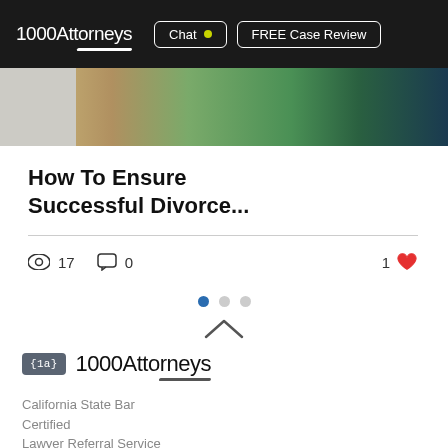1000Attorneys | Chat | FREE Case Review
[Figure (photo): Partial photo strip showing a family or couple, cropped at the top of the article card]
How To Ensure Successful Divorce...
17 views  0 comments  1 like
[Figure (other): Carousel dots navigation: 3 dots, first one active (blue), two grey]
[Figure (other): Upward chevron/caret icon for scroll to top]
[Figure (logo): 1000Attorneys logo with badge icon {1a} and swoosh underline]
California State Bar Certified
Lawyer Referral Service
California Attorney Search